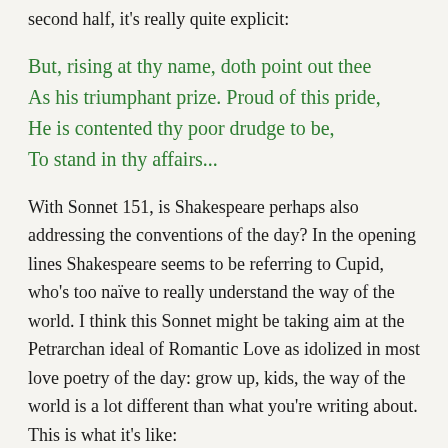second half, it's really quite explicit:
But, rising at thy name, doth point out thee
As his triumphant prize. Proud of this pride,
He is contented thy poor drudge to be,
To stand in thy affairs...
With Sonnet 151, is Shakespeare perhaps also addressing the conventions of the day? In the opening lines Shakespeare seems to be referring to Cupid, who's too naïve to really understand the way of the world. I think this Sonnet might be taking aim at the Petrarchan ideal of Romantic Love as idolized in most love poetry of the day: grow up, kids, the way of the world is a lot different than what you're writing about. This is what it's like: